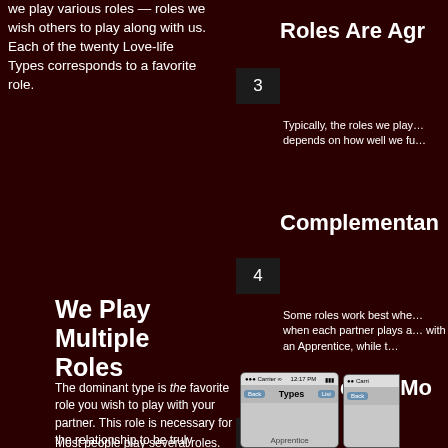we play various roles — roles we wish others to play along with us. Each of the twenty Love-life Types corresponds to a favorite role.
We Play Multiple Roles
Most people play several roles. Thus, you have a dominant Love-life Type and several supporting roles.
The dominant type is the favorite role you wish to play with your partner. This role is necessary for the relationship to be truly
Roles Are Agr…
Typically, the roles we play… depends on how well we fu…
Complementan…
Some roles work best whe… when each partner plays a… with an Apprentice, while t…
People Are Mo…
As you read about the Lov… shines in its own way. In fil… Knight in Shining Armor. B…
[Figure (screenshot): Two smartphone screenshots showing a 'Types' list app interface with a navigation bar showing Back, Types, and List buttons, and a list entry visible below.]